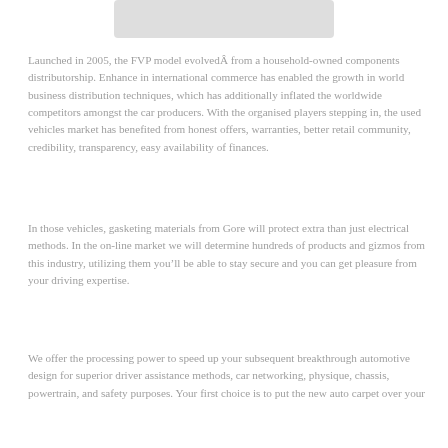[Figure (photo): Partial image visible at top of page, light gray rectangle placeholder]
Launched in 2005, the FVP model evolvedÂ from a household-owned components distributorship. Enhance in international commerce has enabled the growth in world business distribution techniques, which has additionally inflated the worldwide competitors amongst the car producers. With the organised players stepping in, the used vehicles market has benefited from honest offers, warranties, better retail community, credibility, transparency, easy availability of finances.
In those vehicles, gasketing materials from Gore will protect extra than just electrical methods. In the on-line market we will determine hundreds of products and gizmos from this industry, utilizing them you’ll be able to stay secure and you can get pleasure from your driving expertise.
We offer the processing power to speed up your subsequent breakthrough automotive design for superior driver assistance methods, car networking, physique, chassis, powertrain, and safety purposes. Your first choice is to put the new auto carpet over your